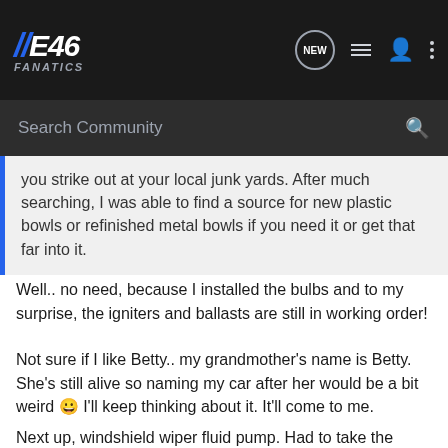IIE46 FANATICS — NEW [icon] [icon] [icon] [icon]
Search Community
you strike out at your local junk yards. After much searching, I was able to find a source for new plastic bowls or refinished metal bowls if you need it or get that far into it.
Well.. no need, because I installed the bulbs and to my surprise, the igniters and ballasts are still in working order!
Not sure if I like Betty.. my grandmother's name is Betty. She's still alive so naming my car after her would be a bit weird 😀 I'll keep thinking about it. It'll come to me.
Next up, windshield wiper fluid pump. Had to take the reservoir out to get the headlight cap on, and the part that the hose attaches to turned into dust. Junkyard time!
Attachments